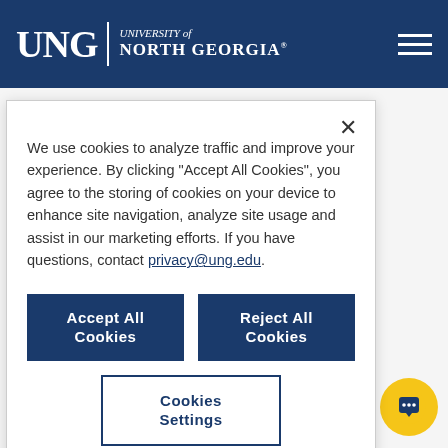UNG | University of North Georgia
We use cookies to analyze traffic and improve your experience. By clicking "Accept All Cookies", you agree to the storing of cookies on your device to enhance site navigation, analyze site usage and assist in our marketing efforts. If you have questions, contact privacy@ung.edu.
Accept All Cookies | Reject All Cookies | Cookies Settings
nominated r. A ed. They n Roswell, ee alia, ree Macon, rketing and Gainesville, ence ee Vayo ood